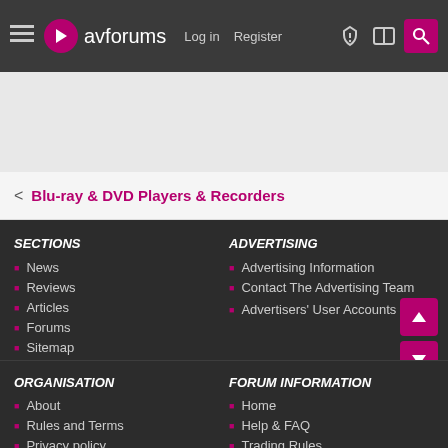avforums — Log in | Register
< Blu-ray & DVD Players & Recorders
SECTIONS
News
Reviews
Articles
Forums
Sitemap
ADVERTISING
Advertising Information
Contact The Advertising Team
Advertisers' User Accounts
ORGANISATION
About
Rules and Terms
Privacy policy
FORUM INFORMATION
Home
Help & FAQ
Trading Rules